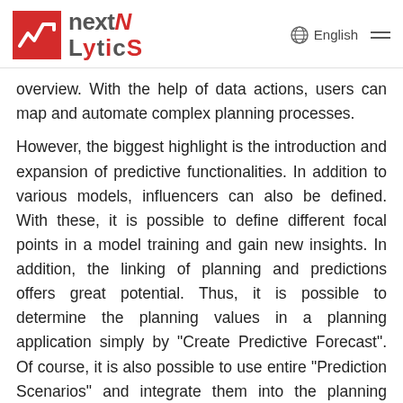nextlytics | English
overview. With the help of data actions, users can map and automate complex planning processes.
However, the biggest highlight is the introduction and expansion of predictive functionalities. In addition to various models, influencers can also be defined. With these, it is possible to define different focal points in a model training and gain new insights. In addition, the linking of planning and predictions offers great potential. Thus, it is possible to determine the planning values in a planning application simply by "Create Predictive Forecast". Of course, it is also possible to use entire "Prediction Scenarios" and integrate them into the planning application. Whether planning applications, predictions, scenarios or a combination of both, the